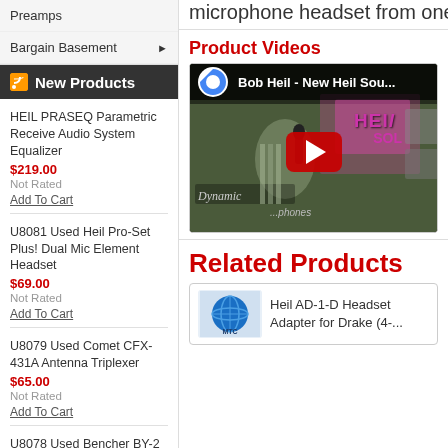microphone headset from one tra...
Preamps
Bargain Basement
New Products
HEIL PRASEQ Parametric Receive Audio System Equalizer
$219.00
Not Rated
Add To Cart
U8081 Used Heil Pro-Set Plus! Dual Mic Element Headset
$69.00
Not Rated
Add To Cart
U8079 Used Comet CFX-431A Antenna Triplexer
$65.00
Not Rated
Add To Cart
U8078 Used Bencher BY-2 Chrome Iambic Paddle Keyer
$75.00
Not Rated
Add To Cart
Product Videos
[Figure (screenshot): YouTube video thumbnail: Bob Heil - New Heil Sou... showing a man holding a microphone in front of a Heil Sound banner]
Related Products
[Figure (screenshot): Related product card: MTC logo globe image with text 'Heil AD-1-D Headset Adapter for Drake (4-...']
Heil AD-1-D Headset Adapter for Drake (4-...